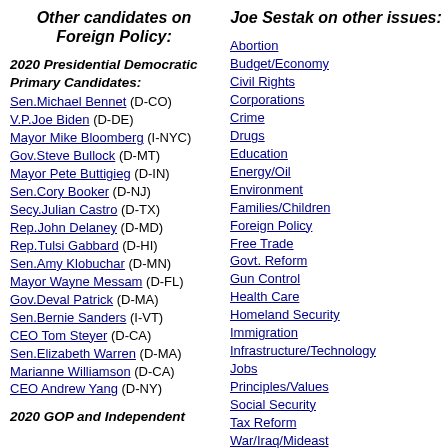Other candidates on Foreign Policy:
Joe Sestak on other issues:
2020 Presidential Democratic Primary Candidates:
Sen.Michael Bennet (D-CO)
V.P.Joe Biden (D-DE)
Mayor Mike Bloomberg (I-NYC)
Gov.Steve Bullock (D-MT)
Mayor Pete Buttigieg (D-IN)
Sen.Cory Booker (D-NJ)
Secy.Julian Castro (D-TX)
Rep.John Delaney (D-MD)
Rep.Tulsi Gabbard (D-HI)
Sen.Amy Klobuchar (D-MN)
Mayor Wayne Messam (D-FL)
Gov.Deval Patrick (D-MA)
Sen.Bernie Sanders (I-VT)
CEO Tom Steyer (D-CA)
Sen.Elizabeth Warren (D-MA)
Marianne Williamson (D-CA)
CEO Andrew Yang (D-NY)
2020 GOP and Independent
Abortion
Budget/Economy
Civil Rights
Corporations
Crime
Drugs
Education
Energy/Oil
Environment
Families/Children
Foreign Policy
Free Trade
Govt. Reform
Gun Control
Health Care
Homeland Security
Immigration
Infrastructure/Technology
Jobs
Principles/Values
Social Security
Tax Reform
War/Iraq/Mideast
Welfare/Poverty
External Links about Joe